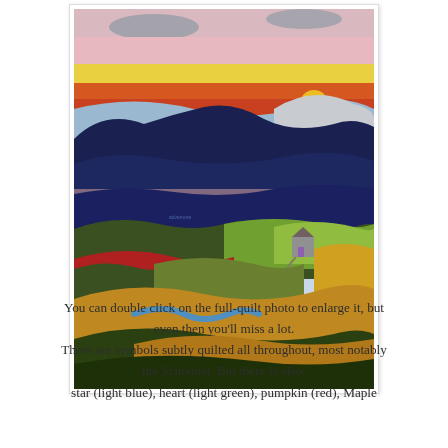[Figure (illustration): A colorful landscape quilt showing layered hills, mountains, a sky with horizontal bands of pink, yellow, orange/red, and grey clouds. The foreground shows rolling hills in dark green, red, olive green, and golden yellow/orange tones. A small house with grey siding and a purple door is visible on a green hill on the right side. A narrow blue stream/river winds through the lower portion.]
You can double click on the full-quilt photo to enlarge it, but even then you'll miss a lot.
There are symbols subtly quilted all throughout, most notably the Schooner. But there is also:
star (light blue), heart (light green), pumpkin (red), Maple